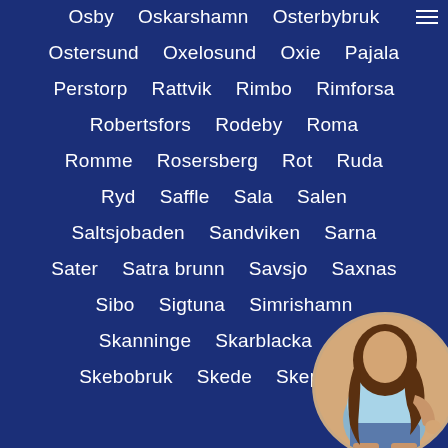Osby  Oskarshamn  Osterbybruk
Ostersund  Oxelosund  Oxie  Pajala
Perstorp  Rattvik  Rimbo  Rimforsa
Robertsfors  Rodeby  Roma
Romme  Rosersberg  Rot  Ruda
Ryd  Saffle  Sala  Salen
Saltsjobaden  Sandviken  Sarna
Sater  Satra brunn  Savsjo  Saxnas
Sibo  Sigtuna  Simrishamn
Skanninge  Skarblacka  S...
Skebobruk  Skede  Skeppsh...
[Figure (photo): Circular photo of a woman in a light blue top and denim shorts, positioned in bottom-right corner]